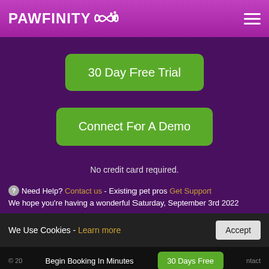PAWFINITY ∞🐾
[Figure (screenshot): Green rounded button: 30 Day Free Trial]
[Figure (screenshot): Green rounded button: Connect For A Demo]
No credit card required.
❓ Need Help? Contact us - Existing pet pros Get Support
We hope you're having a wonderful Saturday, September 3rd 2022
We Use Cookies - Learn more
Accept
© 20... Begin Booking In Minutes   30 Days Free   ...ntact